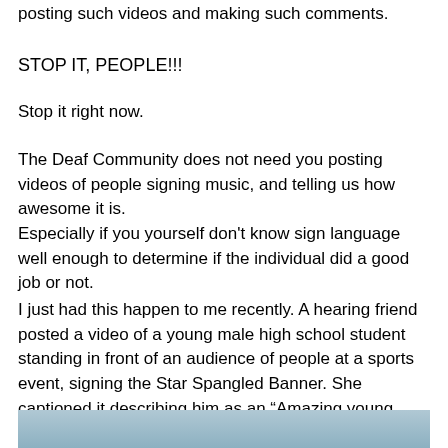posting such videos and making such comments.
STOP IT, PEOPLE!!!
Stop it right now.
The Deaf Community does not need you posting videos of people signing music, and telling us how awesome it is.
Especially if you yourself don’t know sign language well enough to determine if the individual did a good job or not.
I just had this happen to me recently. A hearing friend posted a video of a young male high school student standing in front of an audience of people at a sports event, signing the Star Spangled Banner. She captioned it describing him as an “Amazing young man!”
[Figure (photo): Bottom portion of a photo, showing a blurred/muted scene with blue-grey tones, partially visible at the bottom of the page.]